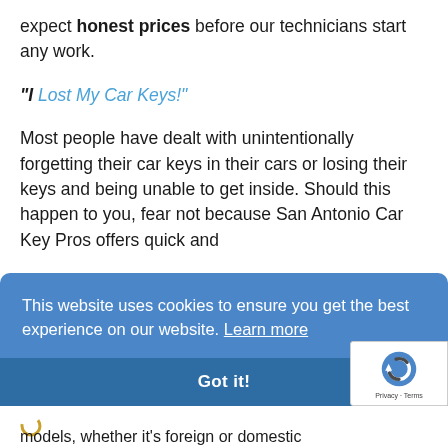expect honest prices before our technicians start any work.
“I Lost My Car Keys!”
Most people have dealt with unintentionally forgetting their car keys in their cars or losing their keys and being unable to get inside. Should this happen to you, fear not because San Antonio Car Key Pros offers quick and
This website uses cookies to ensure you get the best experience on our website. Learn more
Got it!
models, whether it’s foreign or domestic